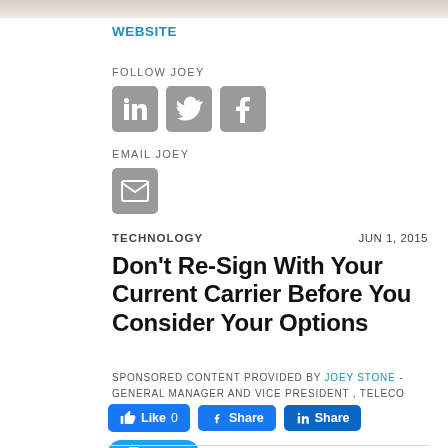[Figure (photo): Partial photo strip at top of page showing a person, cropped]
WEBSITE
FOLLOW JOEY
[Figure (illustration): Social media icons: LinkedIn, Twitter, Facebook in grey rounded squares]
EMAIL JOEY
[Figure (illustration): Email envelope icon in grey rounded square]
TECHNOLOGY
JUN 1, 2015
Don't Re-Sign With Your Current Carrier Before You Consider Your Options
SPONSORED CONTENT PROVIDED BY JOEY STONE - GENERAL MANAGER AND VICE PRESIDENT , TELECO
[Figure (illustration): Social sharing buttons: Like 0 (Facebook), Share (Facebook), Share (LinkedIn), Tweet (Twitter)]